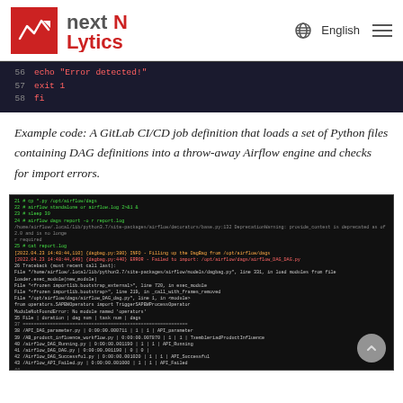nextlytics — English
[Figure (screenshot): Code snippet showing lines 56-58: echo 'Error detected!', exit 1, fi in red monospace on dark background]
Example code: A GitLab CI/CD job definition that loads a set of Python files containing DAG definitions into a throw-away Airflow engine and checks for import errors.
[Figure (screenshot): Terminal output screenshot showing Airflow DAG import check results, including error messages, traceback, DAG table listing, and job failure notice]